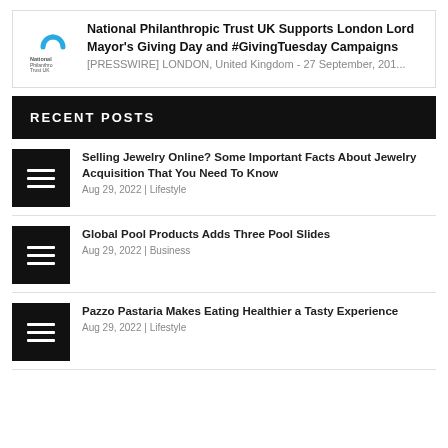National Philanthropic Trust UK Supports London Lord Mayor's Giving Day and #GivingTuesday Campaigns [PRESSWIRE] LONDON, United Kingdom - 27 September, 201...
RECENT POSTS
Selling Jewelry Online? Some Important Facts About Jewelry Acquisition That You Need To Know | Aug 29, 2022 | Lifestyle
Global Pool Products Adds Three Pool Slides | Aug 29, 2022 | Business
Pazzo Pastaria Makes Eating Healthier a Tasty Experience | Aug 29, 2022 | Lifestyle